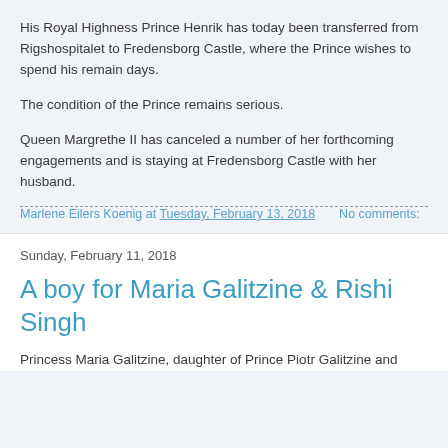His Royal Highness Prince Henrik has today been transferred from Rigshospitalet to Fredensborg Castle, where the Prince wishes to spend his remain days.
The condition of the Prince remains serious.
Queen Margrethe II has canceled a number of her forthcoming engagements and is staying at Fredensborg Castle with her husband.
Marlene Eilers Koenig at Tuesday, February 13, 2018    No comments:
Sunday, February 11, 2018
A boy for Maria Galitzine & Rishi Singh
Princess Maria Galitzine, daughter of Prince Piotr Galitzine and